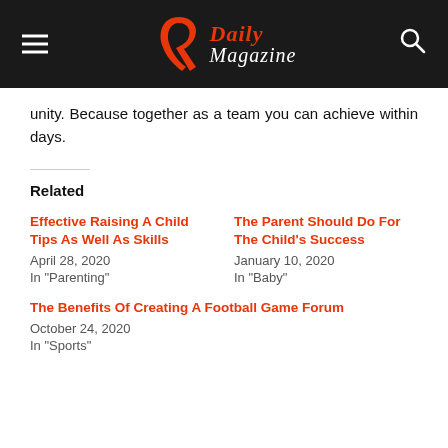R Daily Magazine
unity. Because together as a team you can achieve within days.
Related
Effective Raising A Child Tips As Well As Skills
April 28, 2020
In "Parenting"
The Parent Should Do For The Child's Success
January 10, 2020
In "Baby"
The Benefits Of Creating A Football Game Forum
October 24, 2020
In "Sports"